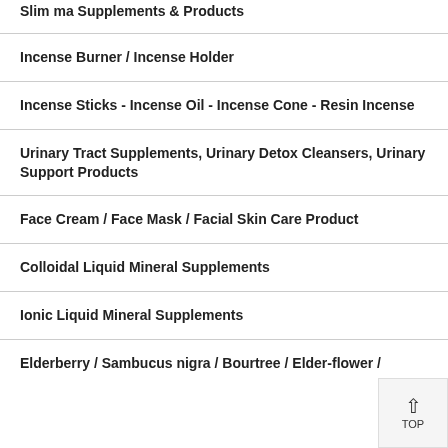Slim ma Supplements & Products
Incense Burner / Incense Holder
Incense Sticks - Incense Oil - Incense Cone - Resin Incense
Urinary Tract Supplements, Urinary Detox Cleansers, Urinary Support Products
Face Cream / Face Mask / Facial Skin Care Product
Colloidal Liquid Mineral Supplements
Ionic Liquid Mineral Supplements
Elderberry / Sambucus nigra / Bourtree / Elder-flower /